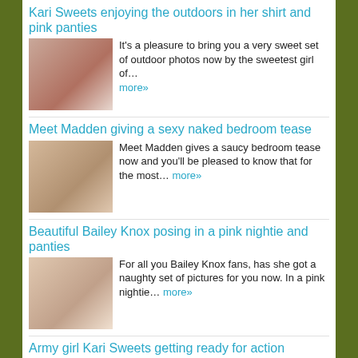Kari Sweets enjoying the outdoors in her shirt and pink panties
[Figure (photo): Thumbnail photo for article 1]
It's a pleasure to bring you a very sweet set of outdoor photos now by the sweetest girl of... more»
Meet Madden giving a sexy naked bedroom tease
[Figure (photo): Thumbnail photo for article 2]
Meet Madden gives a saucy bedroom tease now and you'll be pleased to know that for the most... more»
Beautiful Bailey Knox posing in a pink nightie and panties
[Figure (photo): Thumbnail photo for article 3]
For all you Bailey Knox fans, has she got a naughty set of pictures for you now. In a pink nightie... more»
Army girl Kari Sweets getting ready for action
[Figure (photo): Thumbnail photo for article 4]
Kari Sweets loves a bit of cosplay and today she's role playing at being an army girl in a... more»